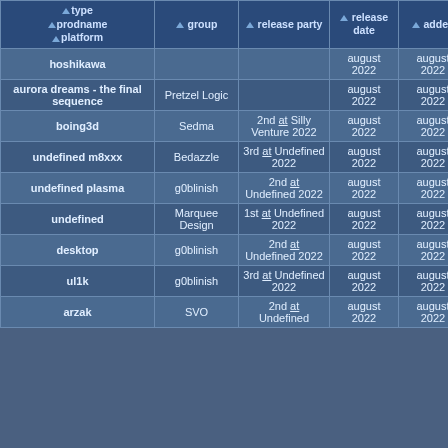| type
prodname
platform | group | release party | release date | added | 👍 | 😠 | 👎 |
| --- | --- | --- | --- | --- | --- | --- | --- |
| hoshikawa |  |  | august 2022 | august 2022 | 1 | 0 |  |
| aurora dreams - the final sequence | Pretzel Logic |  | august 2022 | august 2022 | 1 | 0 |  |
| boing3d | Sedma | 2nd at Silly Venture 2022 | august 2022 | august 2022 | 10 | 1 |  |
| undefined m8xxx | Bedazzle | 3rd at Undefined 2022 | august 2022 | august 2022 | 0 | 1 |  |
| undefined plasma | g0blinish | 2nd at Undefined 2022 | august 2022 | august 2022 | 1 | 0 |  |
| undefined | Marquee Design | 1st at Undefined 2022 | august 2022 | august 2022 | 1 | 0 |  |
| desktop | g0blinish | 2nd at Undefined 2022 | august 2022 | august 2022 | 2 | 1 |  |
| ul1k | g0blinish | 3rd at Undefined 2022 | august 2022 | august 2022 | 1 | 0 |  |
| arzak | SVO | 2nd at Undefined 2022 | august 2022 | august 2022 | 1 | 1 |  |